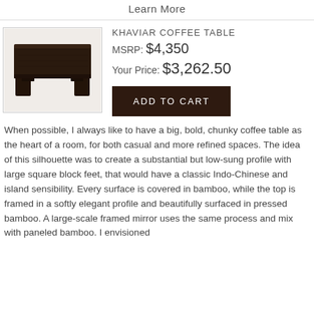Learn More
[Figure (photo): A dark espresso-stained wooden coffee table with thick square block legs, viewed from a slightly elevated angle.]
KHAVIAR COFFEE TABLE
MSRP: $4,350
Your Price: $3,262.50
ADD TO CART
When possible, I always like to have a big, bold, chunky coffee table as the heart of a room, for both casual and more refined spaces. The idea of this silhouette was to create a substantial but low-sung profile with large square block feet, that would have a classic Indo-Chinese and island sensibility. Every surface is covered in bamboo, while the top is framed in a softly elegant profile and beautifully surfaced in pressed bamboo. A large-scale framed mirror uses the same process and mix with paneled bamboo. I envisioned